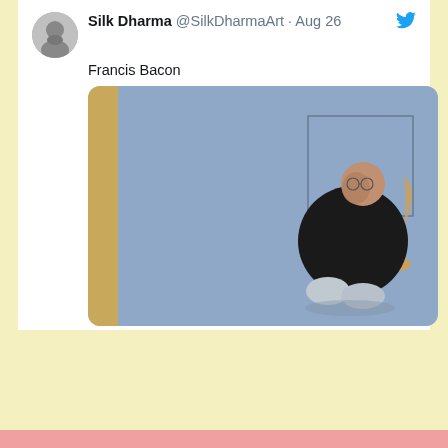[Figure (screenshot): Twitter/X screenshot showing a tweet by Silk Dharma (@SilkDharmaArt) posted Aug 26, containing the text 'Francis Bacon' and an image of a Francis Bacon painting (a figure seated in a chair against a blue background). The tweet shows 1 reply and 174 likes. Below is a retweet notice: 'mike scallan [emoji] Retweeted'.]